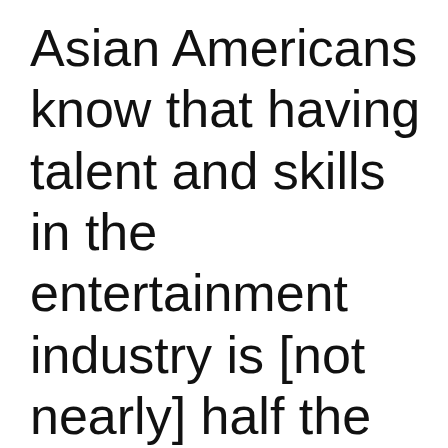Asian Americans know that having talent and skills in the entertainment industry is [not nearly] half the battle. Every film needs financing; whether it's raised through private